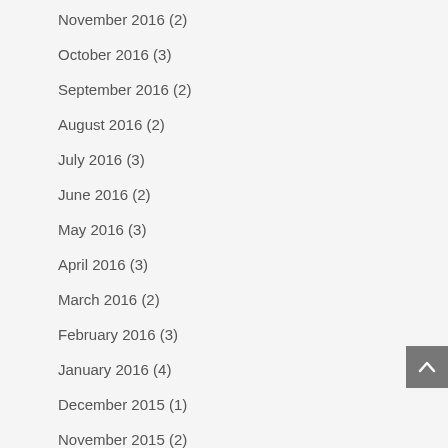November 2016 (2)
October 2016 (3)
September 2016 (2)
August 2016 (2)
July 2016 (3)
June 2016 (2)
May 2016 (3)
April 2016 (3)
March 2016 (2)
February 2016 (3)
January 2016 (4)
December 2015 (1)
November 2015 (2)
October 2015 (3)
September 2015 (2)